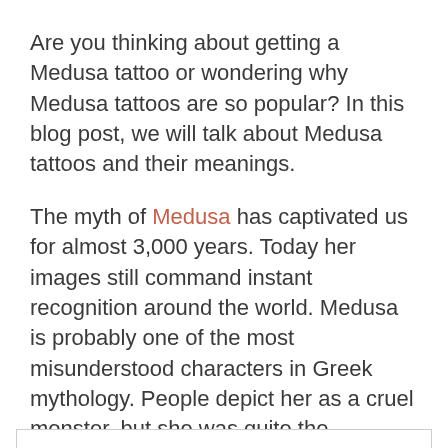Are you thinking about getting a Medusa tattoo or wondering why Medusa tattoos are so popular? In this blog post, we will talk about Medusa tattoos and their meanings.
The myth of Medusa has captivated us for almost 3,000 years. Today her images still command instant recognition around the world. Medusa is probably one of the most misunderstood characters in Greek mythology. People depict her as a cruel monster, but she was quite the opposite.